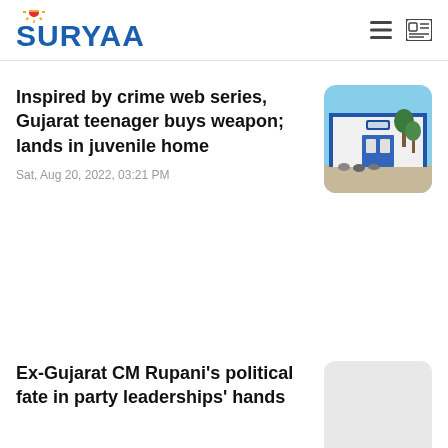SURYAA
Inspired by crime web series, Gujarat teenager buys weapon; lands in juvenile home
Sat, Aug 20, 2022, 03:21 PM
[Figure (photo): Exterior of a white and blue building, likely a government or institutional facility, with motorcycles parked outside and trees visible.]
Ex-Gujarat CM Rupani's political fate in party leaderships' hands
[Figure (photo): Partially visible thumbnail image, mostly white/grey, for the second news article.]